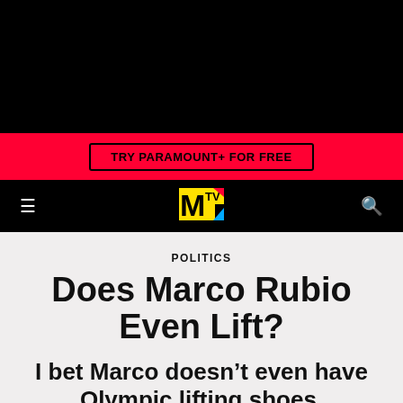[Figure (screenshot): Black top banner area]
[Figure (screenshot): Red promotional banner with TRY PARAMOUNT+ FOR FREE button]
TRY PARAMOUNT+ FOR FREE
[Figure (logo): MTV logo in yellow with red and blue accent on black navigation bar]
POLITICS
Does Marco Rubio Even Lift?
I bet Marco doesn’t even have Olympic lifting shoes.